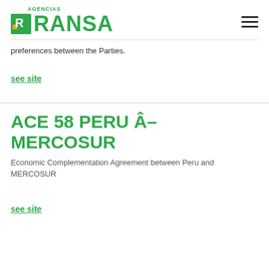AGENCIAS RANSA
preferences between the Parties.
see site
ACE 58 PERU Â– MERCOSUR
Economic Complementation Agreement between Peru and MERCOSUR
see site